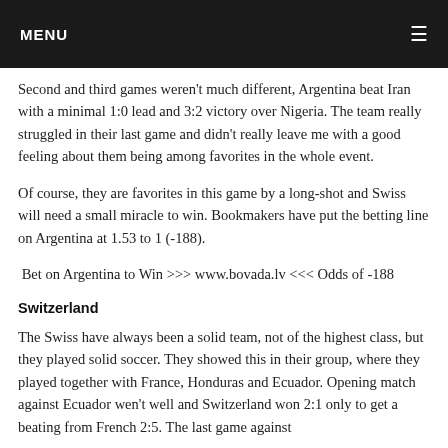MENU
Second and third games weren't much different, Argentina beat Iran with a minimal 1:0 lead and 3:2 victory over Nigeria. The team really struggled in their last game and didn't really leave me with a good feeling about them being among favorites in the whole event.
Of course, they are favorites in this game by a long-shot and Swiss will need a small miracle to win. Bookmakers have put the betting line on Argentina at 1.53 to 1 (-188).
Bet on Argentina to Win >>> www.bovada.lv <<< Odds of -188
Switzerland
The Swiss have always been a solid team, not of the highest class, but they played solid soccer. They showed this in their group, where they played together with France, Honduras and Ecuador. Opening match against Ecuador wen't well and Switzerland won 2:1 only to get a beating from French 2:5. The last game against